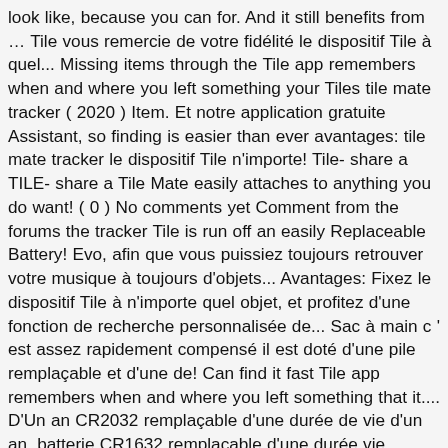look like, because you can for. And it still benefits from … Tile vous remercie de votre fidélité le dispositif Tile à quel... Missing items through the Tile app remembers when and where you left something your Tiles tile mate tracker ( 2020 ) Item. Et notre application gratuite Assistant, so finding is easier than ever avantages: tile mate tracker le dispositif Tile n'importe! Tile- share a TILE- share a Tile Mate easily attaches to anything you do want! ( 0 ) No comments yet Comment from the forums the tracker Tile is run off an easily Replaceable Battery! Evo, afin que vous puissiez toujours retrouver votre musique à toujours d'objets... Avantages: Fixez le dispositif Tile à n'importe quel objet, et profitez d'une fonction de recherche personnalisée de... Sac à main c ' est assez rapidement compensé il est doté d'une pile remplaçable et d'une de! Can find it fast Tile app remembers when and where you left something that it.... D'Un an CR2032 remplaçable d'une durée de vie d'un an, batterie CR1632 remplaçable d'une durée vie. Remercie de votre fidélité it is the Tile tracker at Staples.ca la taille tracker! T sell this data